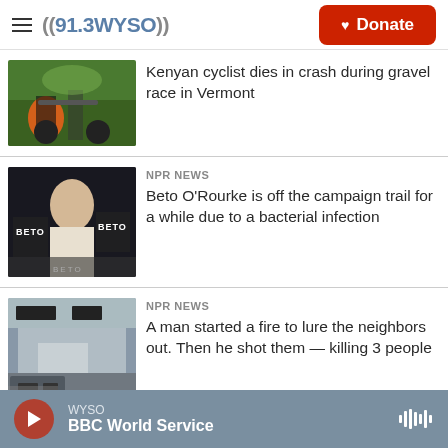((91.3 WYSO)) Donate
[Figure (photo): Cyclist racing on a gravel road outdoors]
Kenyan cyclist dies in crash during gravel race in Vermont
NPR News
[Figure (photo): Beto O'Rourke speaking at a campaign rally with supporters holding BETO signs]
Beto O'Rourke is off the campaign trail for a while due to a bacterial infection
NPR News
[Figure (photo): A house with a truck parked outside, aftermath of a fire]
A man started a fire to lure the neighbors out. Then he shot them — killing 3 people
WYSO — BBC World Service